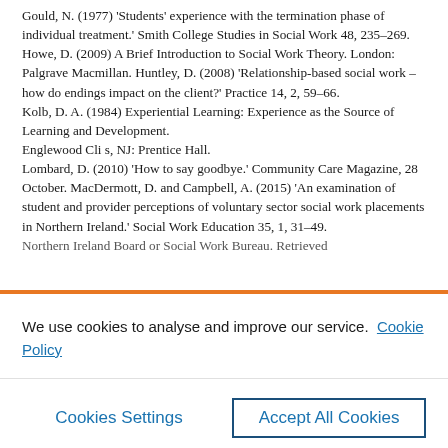Gould, N. (1977) 'Students' experience with the termination phase of individual treatment.' Smith College Studies in Social Work 48, 235–269. Howe, D. (2009) A Brief Introduction to Social Work Theory. London: Palgrave Macmillan. Huntley, D. (2008) 'Relationship-based social work – how do endings impact on the client?' Practice 14, 2, 59–66. Kolb, D. A. (1984) Experiential Learning: Experience as the Source of Learning and Development. Englewood Cliffs, NJ: Prentice Hall. Lombard, D. (2010) 'How to say goodbye.' Community Care Magazine, 28 October. MacDermott, D. and Campbell, A. (2015) 'An examination of student and provider perceptions of voluntary sector social work placements in Northern Ireland.' Social Work Education 35, 1, 31–49.
We use cookies to analyse and improve our service. Cookie Policy
Cookies Settings
Accept All Cookies